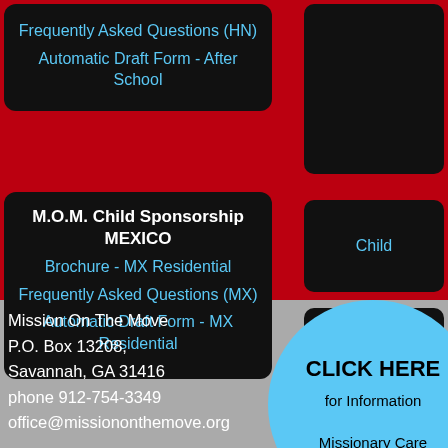Frequently Asked Questions (HN)
Automatic Draft Form - After School
M.O.M. Child Sponsorship MEXICO
Brochure - MX Residential
Frequently Asked Questions (MX)
Automatic Draft Form - MX Residential
Child
Team Me
Mission On The Move
P.O. Box 13208,
Savannah, GA 31416
phone 912-754-3349
office@missiononthemove.org
CLICK HERE for Information Missionary Care